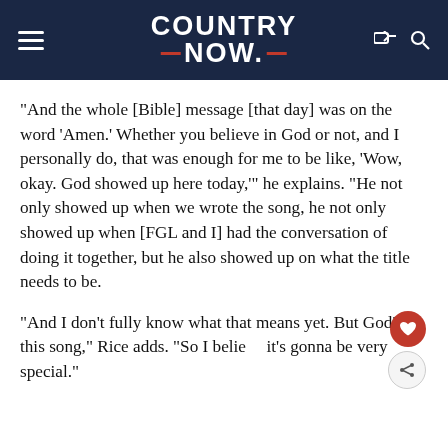COUNTRY NOW
“And the whole [Bible] message [that day] was on the word ‘Amen.’ Whether you believe in God or not, and I personally do, that was enough for me to be like, ‘Wow, okay. God showed up here today,’” he explains. “He not only showed up when we wrote the song, he not only showed up when [FGL and I] had the conversation of doing it together, but he also showed up on what the title needs to be.
“And I don’t fully know what that means yet. But God’s in this song,” Rice adds. “So I believe it’s gonna be very special.”